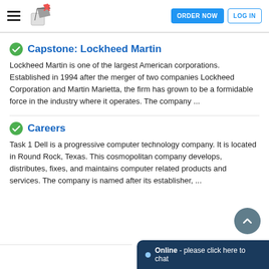ORDER NOW | LOG IN
Capstone: Lockheed Martin
Lockheed Martin is one of the largest American corporations. Established in 1994 after the merger of two companies Lockheed Corporation and Martin Marietta, the firm has grown to be a formidable force in the industry where it operates. The company ...
Careers
Task 1 Dell is a progressive computer technology company. It is located in Round Rock, Texas. This cosmopolitan company develops, distributes, fixes, and maintains computer related products and services. The company is named after its establisher, ...